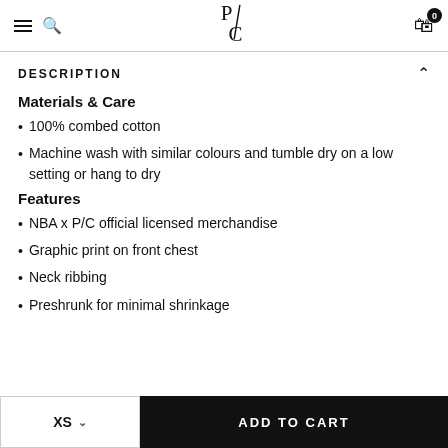P/C — navigation header with hamburger menu, search, logo, and cart (0 items)
DESCRIPTION
Materials & Care
100% combed cotton
Machine wash with similar colours and tumble dry on a low setting or hang to dry
Features
NBA x P/C official licensed merchandise
Graphic print on front chest
Neck ribbing
Preshrunk for minimal shrinkage
XS size selector | ADD TO CART button